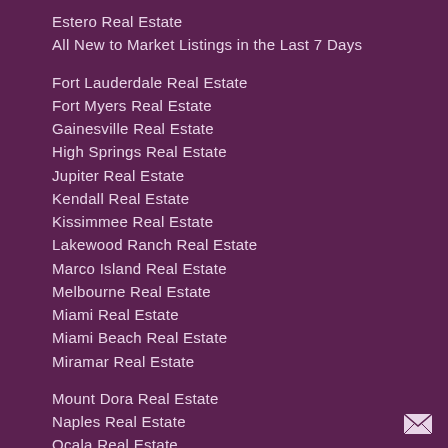Estero Real Estate
All New to Market Listings in the Last 7 Days
Fort Lauderdale Real Estate
Fort Myers Real Estate
Gainesville Real Estate
High Springs Real Estate
Jupiter Real Estate
Kendall Real Estate
Kissimmee Real Estate
Lakewood Ranch Real Estate
Marco Island Real Estate
Melbourne Real Estate
Miami Real Estate
Miami Beach Real Estate
Miramar Real Estate
Mount Dora Real Estate
Naples Real Estate
Ocala Real Estate
[Figure (illustration): Envelope/mail icon in bottom right corner]